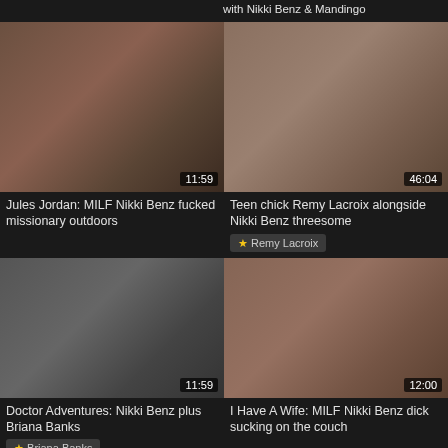with Nikki Benz & Mandingo
[Figure (photo): Video thumbnail: Jules Jordan MILF Nikki Benz missionary outdoor scene, duration 11:59]
[Figure (photo): Video thumbnail: Teen chick Remy Lacroix alongside Nikki Benz threesome, duration 46:04]
Jules Jordan: MILF Nikki Benz fucked missionary outdoors
Teen chick Remy Lacroix alongside Nikki Benz threesome
★ Remy Lacroix
[Figure (photo): Video thumbnail: Doctor Adventures Nikki Benz plus Briana Banks, duration 11:59]
[Figure (photo): Video thumbnail: I Have A Wife MILF Nikki Benz dick sucking on the couch, duration 12:00]
Doctor Adventures: Nikki Benz plus Briana Banks
I Have A Wife: MILF Nikki Benz dick sucking on the couch
★ Briana Banks